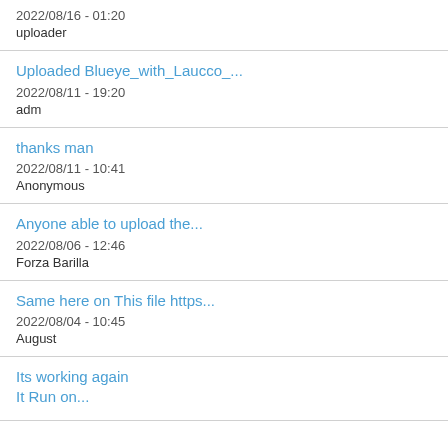2022/08/16 - 01:20
uploader
Uploaded Blueye_with_Laucco_...
2022/08/11 - 19:20
adm
thanks man
2022/08/11 - 10:41
Anonymous
Anyone able to upload the...
2022/08/06 - 12:46
Forza Barilla
Same here on This file https...
2022/08/04 - 10:45
August
Its working again
It Run on...